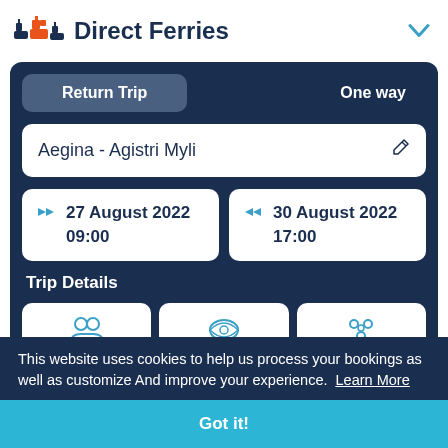Direct Ferries
Return Trip
One way
Aegina - Agistri Myli
27 August 2022 09:00
30 August 2022 17:00
Trip Details
This website uses cookies to help us process your bookings as well as customize And improve your experience. Learn More
Got it!